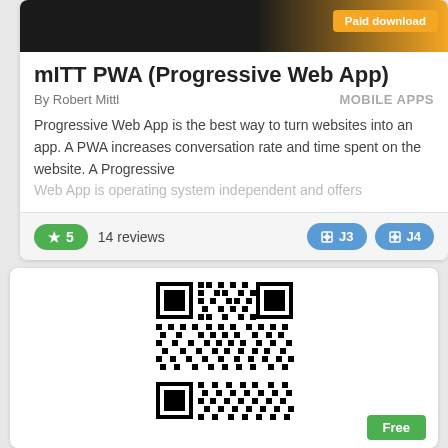[Figure (screenshot): App listing card header with dark and orange gradient background]
Paid download
mITT PWA (Progressive Web App)
By Robert Mittl
MOBILE APPS
Progressive Web App is the best way to turn websites into an app. A PWA increases conversation rate and time spent on the website. A Progressive Web App is operating system independent and offers
★ 5   14 reviews   J3   J4
[Figure (other): QR code image]
Free